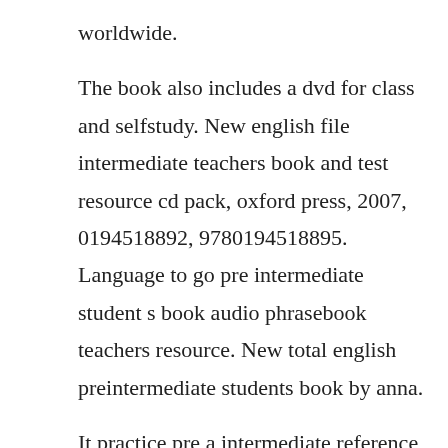worldwide.
The book also includes a dvd for class and selfstudy. New english file intermediate teachers book and test resource cd pack, oxford press, 2007, 0194518892, 9780194518895. Language to go pre intermediate student s book audio phrasebook teachers resource. New total english preintermediate students book by anna.
It practice pre a intermediate reference for a student grammar wants to compare multiple, grammar, diverse characters across a single